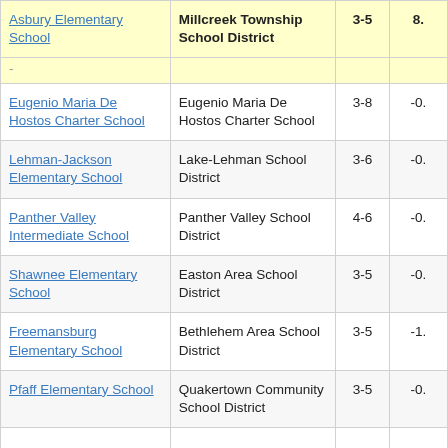| School | District | Grades | Value |
| --- | --- | --- | --- |
| Asbury Elementary School | Millcreek Township School District | 3-5 | 8. |
| - |  |  |  |
| Eugenio Maria De Hostos Charter School | Eugenio Maria De Hostos Charter School | 3-8 | -0. |
| Lehman-Jackson Elementary School | Lake-Lehman School District | 3-6 | -0. |
| Panther Valley Intermediate School | Panther Valley School District | 4-6 | -0. |
| Shawnee Elementary School | Easton Area School District | 3-5 | -0. |
| Freemansburg Elementary School | Bethlehem Area School District | 3-5 | -1. |
| Pfaff Elementary School | Quakertown Community School District | 3-5 | -0. |